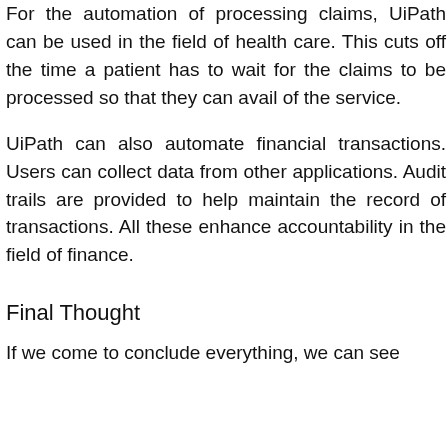For the automation of processing claims, UiPath can be used in the field of health care. This cuts off the time a patient has to wait for the claims to be processed so that they can avail of the service.
UiPath can also automate financial transactions. Users can collect data from other applications. Audit trails are provided to help maintain the record of transactions. All these enhance accountability in the field of finance.
Final Thought
If we come to conclude everything, we can see